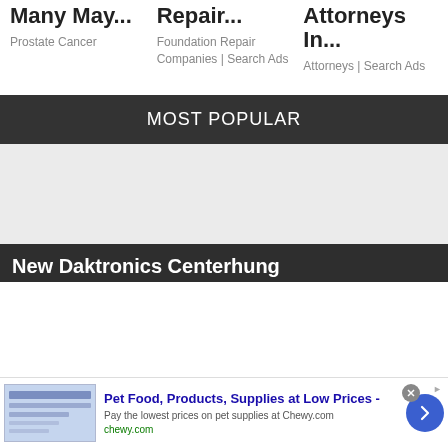Many May...
Prostate Cancer
Repair...
Foundation Repair Companies | Search Ads
Attorneys In...
Attorneys | Search Ads
MOST POPULAR
[Figure (photo): Grey placeholder image area for most popular content]
New Daktronics Centerhung
Pet Food, Products, Supplies at Low Prices - Pay the lowest prices on pet supplies at Chewy.com chewy.com